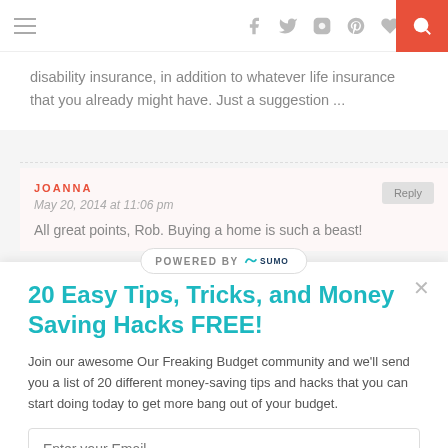Navigation bar with hamburger menu, social icons (facebook, twitter, instagram, pinterest, heart, rss), and search button
disability insurance, in addition to whatever life insurance that you already might have. Just a suggestion ...
JOANNA
May 20, 2014 at 11:06 pm
All great points, Rob. Buying a home is such a beast!
[Figure (logo): POWERED BY SUMO badge/watermark]
20 Easy Tips, Tricks, and Money Saving Hacks FREE!
Join our awesome Our Freaking Budget community and we'll send you a list of 20 different money-saving tips and hacks that you can start doing today to get more bang out of your budget.
Enter your Email
Sign Me Up!